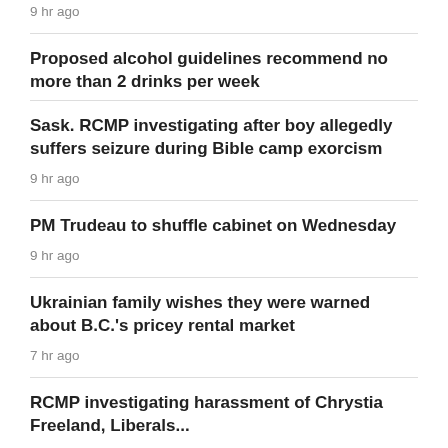9 hr ago
Proposed alcohol guidelines recommend no more than 2 drinks per week
Sask. RCMP investigating after boy allegedly suffers seizure during Bible camp exorcism
9 hr ago
PM Trudeau to shuffle cabinet on Wednesday
9 hr ago
Ukrainian family wishes they were warned about B.C.'s pricey rental market
7 hr ago
RCMP investigating harassment of Chrystia Freeland, Liberals...